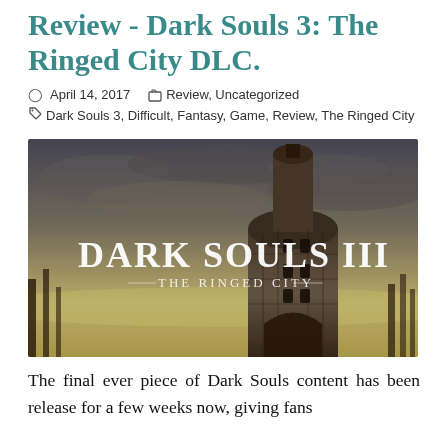Review - Dark Souls 3: The Ringed City DLC.
April 14, 2017   Review, Uncategorized   Dark Souls 3, Difficult, Fantasy, Game, Review, The Ringed City
[Figure (photo): Dark Souls III: The Ringed City promotional artwork showing a large gothic tower against a dramatic sky with the game title logo displayed prominently]
The final ever piece of Dark Souls content has been release for a few weeks now, giving fans